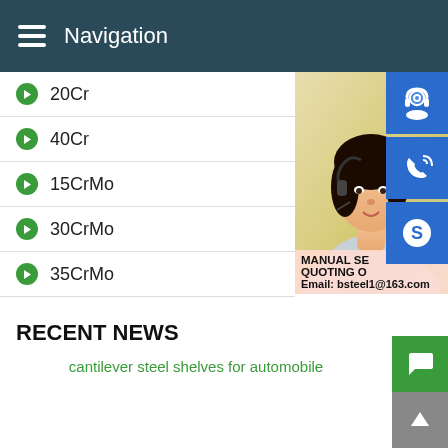Navigation
20Cr
40Cr
15CrMo
30CrMo
35CrMo
42CrMo
[Figure (photo): Woman with headset (customer service) with overlay text: MANUAL SE... QUOTING O... Email: bsteel1@163.com and blue icon buttons for support, phone, and Skype]
RECENT NEWS
cantilever steel shelves for automobile